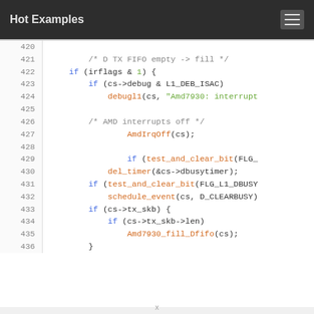Hot Examples
[Figure (screenshot): Syntax-highlighted C source code, lines 420-435, showing interrupt handler logic with if statements, debugl1, AmdIrqOff, test_and_clear_bit, del_timer, schedule_event, and Amd7930_fill_Dfifo function calls.]
x